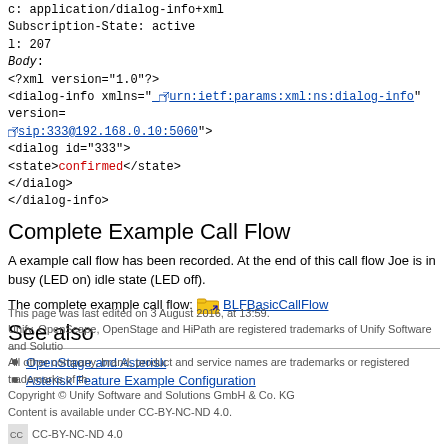c: application/dialog-info+xml
Subscription-State: active
l: 207
Body:
<?xml version="1.0"?>
<dialog-info xmlns="urn:ietf:params:xml:ns:dialog-info" version=... sip:333@192.168.0.10:5060">
<dialog id="333">
<state>confirmed</state>
</dialog>
</dialog-info>
Complete Example Call Flow
A example call flow has been recorded. At the end of this call flow Joe is in busy (LED on) idle state (LED off).
The complete example call flow: BLFBasicCallFlow
See also
OpenStage and Asterisk
Asterisk Feature Example Configuration
This page was last edited on 3 August 2016, at 13:59.
Unify, OpenScape, OpenStage and HiPath are registered trademarks of Unify Software and Solutions GmbH & Co. KG.
All other company, brand, product and service names are trademarks or registered trademarks of their respective holders.
Copyright © Unify Software and Solutions GmbH & Co. KG
Content is available under CC-BY-NC-ND 4.0.
CC-BY-NC-ND 4.0